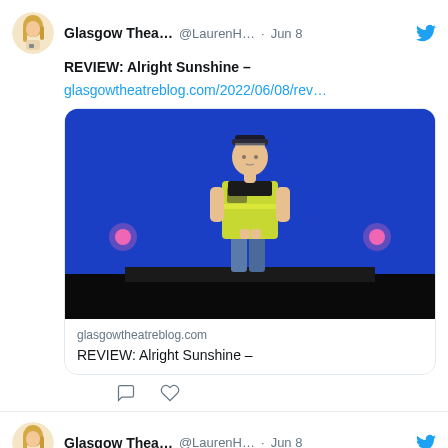[Figure (screenshot): Twitter/social media feed screenshot showing two tweets from Glasgow Thea... (@LaurenH...) dated Jun 8. First tweet: REVIEW: Alright Sunshine with link to glasgowtheatreblog.com/2022/06/08/rev... and a link card image showing a person in a police/hi-vis vest on a blue stage background. Second tweet: NEWS: Bard in the Botanics 2022 Season programme announced with link to glasgowtheatreblog.com/2022/06/08/new...]